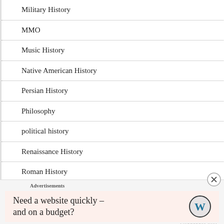Military History
MMO
Music History
Native American History
Persian History
Philosophy
political history
Renaissance History
Roman History
Round Up
Advertisements
Need a website quickly – and on a budget?